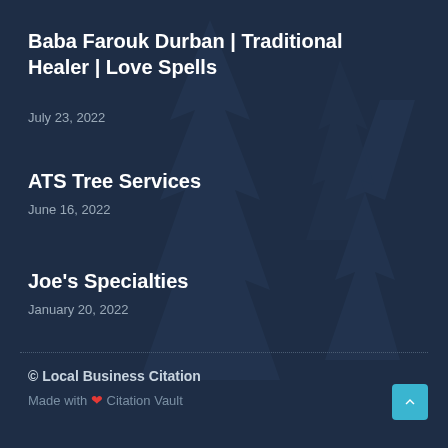Baba Farouk Durban | Traditional Healer | Love Spells
July 23, 2022
ATS Tree Services
June 16, 2022
Joe's Specialties
January 20, 2022
© Local Business Citation
Made with ❤ Citation Vault